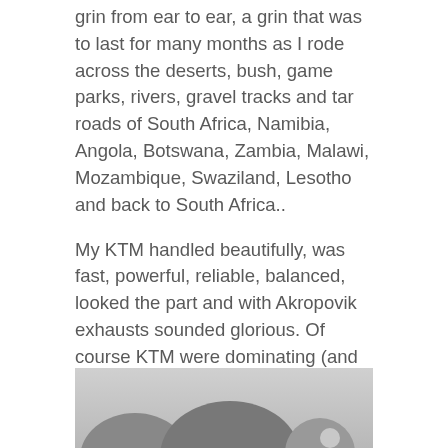grin from ear to ear, a grin that was to last for many months as I rode across the deserts, bush, game parks, rivers, gravel tracks and tar roads of South Africa, Namibia, Angola, Botswana, Zambia, Malawi, Mozambique, Swaziland, Lesotho and back to South Africa..
My KTM handled beautifully, was fast, powerful, reliable, balanced, looked the part and with Akropovik exhausts sounded glorious. Of course KTM were dominating (and have continued to do so) all the motorcycle rally competitions around the world, including the famous Dakar Rally and so my decision back then was an easy one.
[Figure (photo): Black and white photograph showing motorcycles or motorcycle equipment, partially cropped at the bottom of the page]